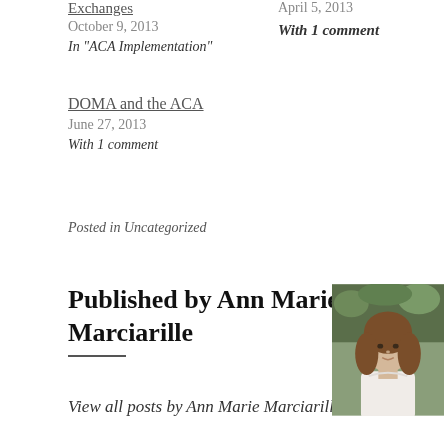Exchanges
October 9, 2013
In "ACA Implementation"
April 5, 2013
With 1 comment
DOMA and the ACA
June 27, 2013
With 1 comment
Posted in Uncategorized
Published by Ann Marie Marciarille
[Figure (photo): Portrait photo of Ann Marie Marciarille, a young woman with light skin and brown shoulder-length hair, wearing a white top, outdoors with green foliage in background.]
View all posts by Ann Marie Marciarille